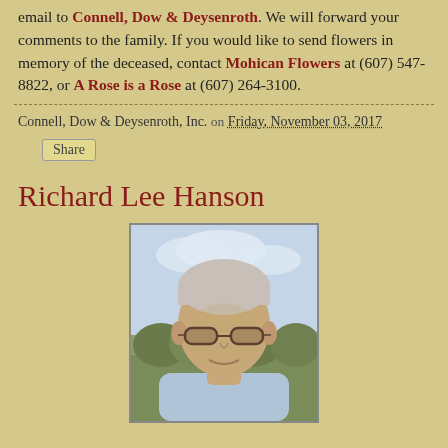email to Connell, Dow & Deysenroth. We will forward your comments to the family. If you would like to send flowers in memory of the deceased, contact Mohican Flowers at (607) 547-8822, or A Rose is a Rose at (607) 264-3100.
Connell, Dow & Deysenroth, Inc. on Friday, November 03, 2017
Share
Richard Lee Hanson
[Figure (photo): Portrait photo of Richard Lee Hanson, a middle-aged man with short gray hair wearing sunglasses and a light blue shirt, with green trees and cloudy sky in the background.]